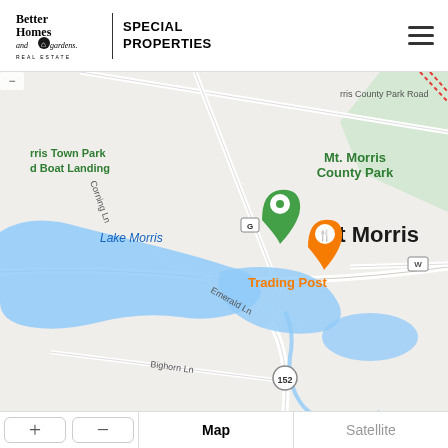[Figure (logo): Better Homes and Gardens Real Estate logo with house icon]
SPECIAL PROPERTIES
[Figure (map): Google Maps view of Mt Morris area showing Lake Morris, Mt. Morris County Park, Trading Post location marker (green pin), restaurant marker (orange pin), road labels including Corning Ln, Emerald Ln, Bighorn Ln, Morris County Park Road, and route 152]
Map   Satellite